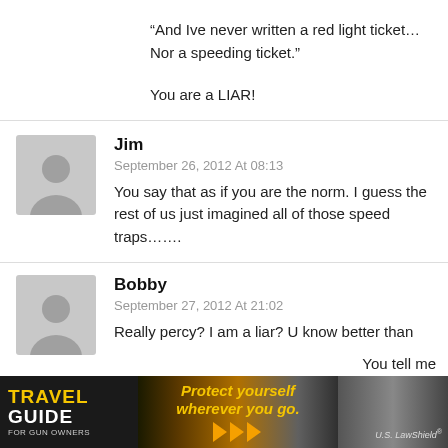“And Ive never written a red light ticket… Nor a speeding ticket.”

You are a LIAR!
Jim
September 26, 2012 At 08:13
You say that as if you are the norm. I guess the rest of us just imagined all of those speed traps…….
Bobby
September 27, 2012 At 21:02
Really percy? I am a liar? U know better than You tell me
[Figure (infographic): Travel Guide For Gun Owners advertisement banner with text Protect yourself wherever you go and arrow icons and U.S. LawShield branding]